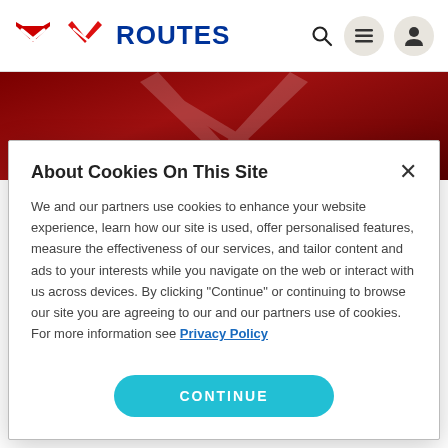ROUTES
[Figure (screenshot): Routes website screenshot showing navigation bar with Routes logo (red arrow icon), search icon, hamburger menu, and user profile icon. Below is a dark red hero image strip. A cookie consent modal dialog overlays the page.]
About Cookies On This Site
We and our partners use cookies to enhance your website experience, learn how our site is used, offer personalised features, measure the effectiveness of our services, and tailor content and ads to your interests while you navigate on the web or interact with us across devices. By clicking "Continue" or continuing to browse our site you are agreeing to our and our partners use of cookies. For more information see Privacy Policy
CONTINUE